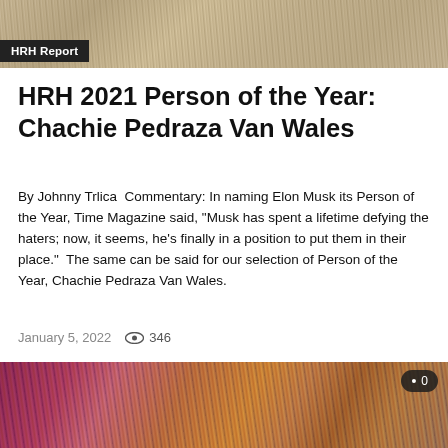[Figure (photo): Close-up photo of a brush with light-colored bristles, appearing metallic or glittery]
HRH Report
HRH 2021 Person of the Year: Chachie Pedraza Van Wales
By Johnny Trlica  Commentary: In naming Elon Musk its Person of the Year, Time Magazine said, “Musk has spent a lifetime defying the haters; now, it seems, he’s finally in a position to put them in their place.”  The same can be said for our selection of Person of the Year, Chachie Pedraza Van Wales.
January 5, 2022   346
[Figure (photo): Close-up photo with colorful abstract bokeh lights, purples, pinks, oranges and golds with vertical streaking lines]